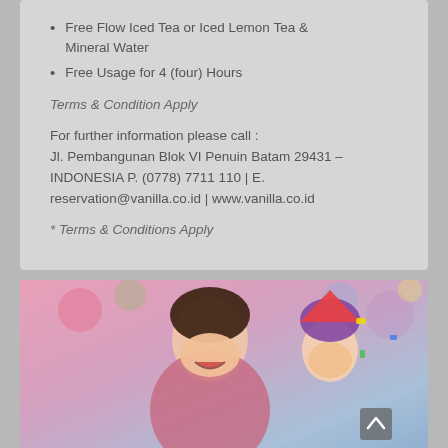Free Flow Iced Tea or Iced Lemon Tea & Mineral Water
Free Usage for 4 (four) Hours
Terms & Condition Apply
For further information please call :
Jl. Pembangunan Blok VI Penuin Batam 29431 – INDONESIA P. (0778) 7711 110 | E. reservation@vanilla.co.id | www.vanilla.co.id
* Terms & Conditions Apply
[Figure (photo): A woman and a child laughing and celebrating, with colorful balloons and party decorations in a pink/festive background]